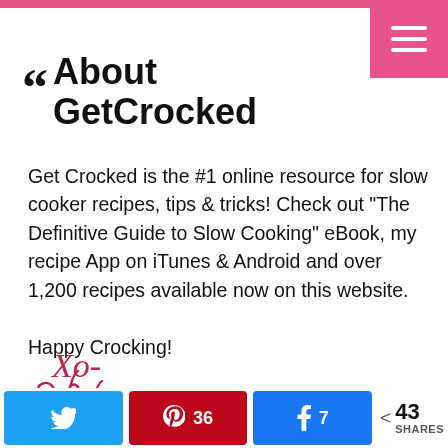About GetCrocked
Get Crocked is the #1 online resource for slow cooker recipes, tips & tricks! Check out "The Definitive Guide to Slow Cooking" eBook, my recipe App on iTunes & Android and over 1,200 recipes available now on this website.

Happy Crocking!
[Figure (illustration): Handwritten signature reading 'Xo- Jenn' in red cursive script]
Twitter share button | Pinterest 36 shares | Facebook 7 shares | 43 SHARES